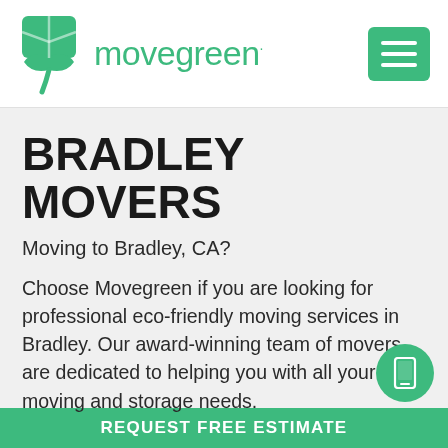[Figure (logo): Movegreen logo: green box/leaf icon with 'movegreen' text in green]
[Figure (other): Green hamburger menu icon (three horizontal white lines on green rounded square)]
BRADLEY MOVERS
Moving to Bradley, CA?
Choose Movegreen if you are looking for professional eco-friendly moving services in Bradley. Our award-winning team of movers are dedicated to helping you with all your moving and storage needs.
[Figure (other): Green circle with white mobile phone icon]
REQUEST FREE ESTIMATE